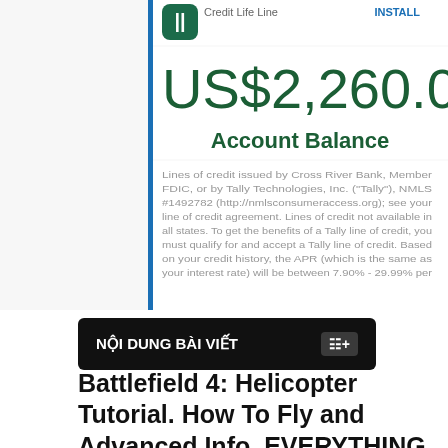[Figure (screenshot): Mobile app screenshot showing Credit Life Line app with account balance of US$2,260.00 and disclaimer text. Blue vertical bar on left side. INSTALL button in top right.]
NỘI DUNG BÀI VIẾT
Battlefield 4: Helicopter Tutorial. How To Fly and Advanced Info. EVERYTHING You Need To Know